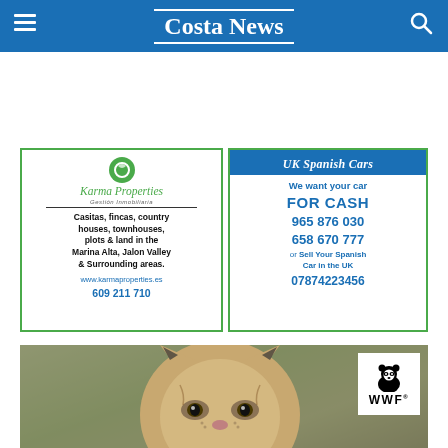Costa News
[Figure (infographic): Karma Properties real estate advertisement with green border, circular logo, italic script name, and text about casitas, fincas, country houses, townhouses, plots & land in Marina Alta, Jalon Valley & Surrounding areas. Website www.karmaproperties.es and phone 609 211 710]
[Figure (infographic): UK Spanish Cars advertisement with blue header, offering to buy cars for cash. Phone numbers 965 876 030, 658 670 777, and UK number 07874223456]
[Figure (photo): Close-up photo of a lynx/wildcat with WWF panda logo badge in top right corner]